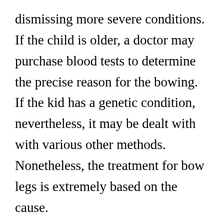dismissing more severe conditions. If the child is older, a doctor may purchase blood tests to determine the precise reason for the bowing. If the kid has a genetic condition, nevertheless, it may be dealt with with various other methods. Nonetheless, the treatment for bow legs is extremely based on the cause.
Infants are birthed bowlegged. The folded up position occurs throughout the womb. This setting is anticipated to be remedied as the kid